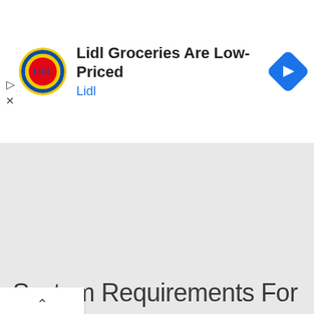[Figure (screenshot): Lidl advertisement banner showing Lidl logo, title 'Lidl Groceries Are Low-Priced', subtitle 'Lidl', and a blue navigation diamond icon on the right. Small play and X icons on the far left.]
[Figure (map): Gray map area below the advertisement banner, with a white collapse/chevron tab in the upper left corner.]
System Requirements For